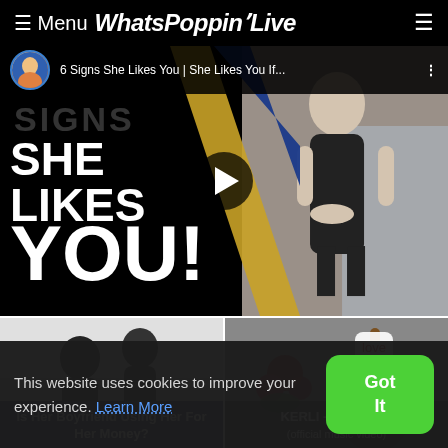Menu WhatsPoppinLive
[Figure (screenshot): Video thumbnail for '6 Signs She Likes You | She Likes You If...' showing text 'SHE LIKES YOU!' on black background with a woman in black dress on the right side, play button overlay, and channel avatar with title bar at top]
[Figure (screenshot): Thumbnail card: 'Is Her Boyfriend Using Her For Her Money?' showing silhouettes of two people]
[Figure (screenshot): Thumbnail card: 'KERLI - SAVAGES (official music video)' showing guitar with love ornament and red roses]
This website uses cookies to improve your experience. Learn More
Got It